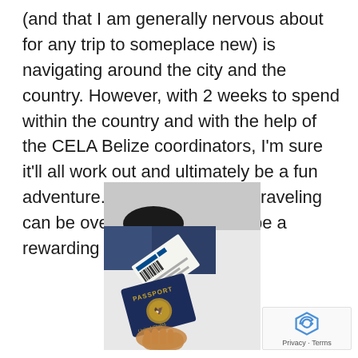(and that I am generally nervous about for any trip to someplace new) is navigating around the city and the country. However, with 2 weeks to spend within the country and with the help of the CELA Belize coordinators, I'm sure it'll all work out and ultimately be a fun adventure. The uncertainty of traveling can be overwhelming, but it'll be a rewarding experience!
[Figure (photo): A photo taken from above showing a person's hand holding a United States passport and a boarding pass, with their legs visible in the background against a light gray surface. The passport shows 'PASSPORT' and 'United States' text with the gold eagle emblem.]